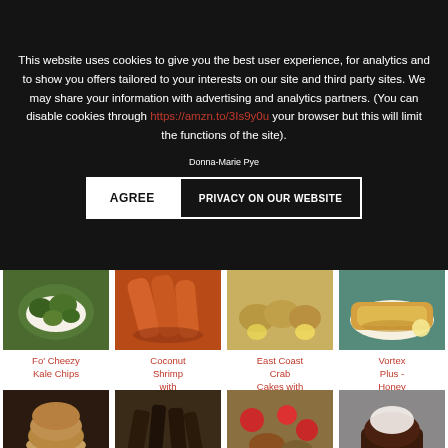This website uses cookies to give you the best user experience, for analytics and to show you offers tailored to your interests on our site and third party sites. We may share your information with advertising and analytics partners. (You can disable cookies through https://amzn.to/3Is9y0u your browser but this will limit the functions of the site).
AGREE
PRIVACY ON OUR WEBSITE
All r...   Donna-Marie Pye...
[Figure (photo): Fo' Cheezy Kale Chips - green kale chips on a plate]
[Figure (photo): Coconut Shrimp with Mango Curry Aioli - orange fried shrimp]
[Figure (photo): East Coast Crab Cakes with Easy Aioli - crab cakes with lemon]
[Figure (photo): Vortex Plus - Honey Dijon Pork Schnitzel - golden pork schnitzel]
Fo' Cheezy Kale Chips
Coconut Shrimp with Mango Curry Aioli
East Coast Crab Cakes with Easy Aioli
Vortex Plus - Honey Dijon Pork Schnitzel
[Figure (photo): Stack of round breaded donuts/croquettes]
[Figure (photo): Dark meat/jerky strips on cutting board]
[Figure (photo): Food with tomatoes and vegetables]
[Figure (photo): Chocolate lava cake with ice cream on plate]